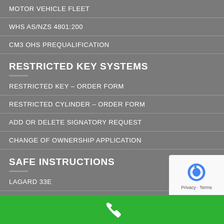MOTOR VEHICLE FLEET
WHS AS/NZS 4801:200
CM3 OHS PREQUALIFICATION
RESTRICTED KEY SYSTEMS
RESTRICTED KEY – ORDER FORM
RESTRICTED CYLINDER – ORDER FORM
ADD OR DELETE SIGNATORY REQUEST
CHANGE OF OWNERSHIP APPLICATION
SAFE INSTRUCTIONS
LAGARD 33E
[Figure (logo): reCAPTCHA logo with Privacy and Terms text]
[Figure (illustration): Green bar with white phone icon at bottom of screen]